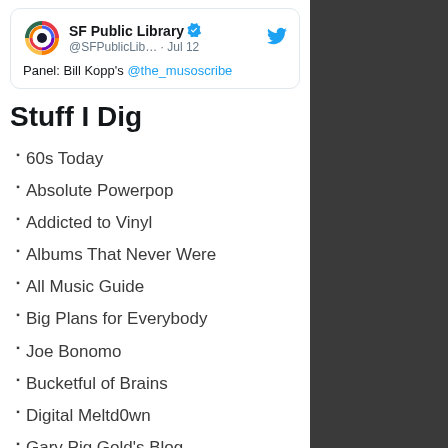[Figure (screenshot): Tweet from SF Public Library (@SFPublicLib...) dated Jul 12. Text: Panel: Bill Kopp's @the_musoscribe. Includes verified badge and Twitter bird icon.]
Stuff I Dig
60s Today
Absolute Powerpop
Addicted to Vinyl
Albums That Never Were
All Music Guide
Big Plans for Everybody
Joe Bonomo
Bucketful of Brains
Digital Meltd0wn
Gary Pig Gold's Blog
Off Your Radar
PowerPop (Steve Simels)